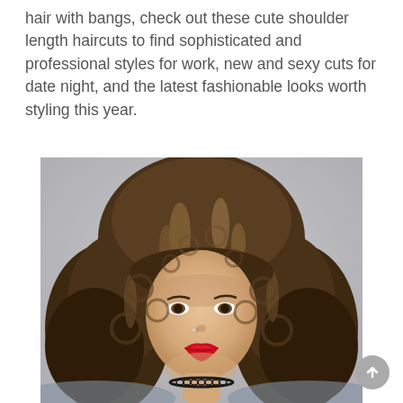hair with bangs, check out these cute shoulder length haircuts to find sophisticated and professional styles for work, new and sexy cuts for date night, and the latest fashionable looks worth styling this year.
[Figure (photo): A woman with voluminous shoulder-length curly brown hair with highlights and curtain bangs, wearing red lipstick and a black choker necklace, photographed against a light grey background.]